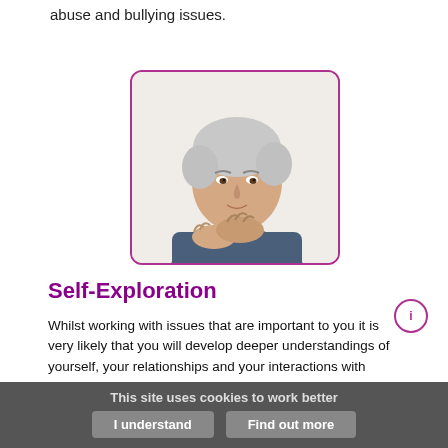abuse and bullying issues.
[Figure (photo): Middle-aged man with grey hair, resting his chin on his clasped hands, looking thoughtful, white background, inside a purple-bordered rounded rectangle frame]
Self-Exploration
Whilst working with issues that are important to you it is very likely that you will develop deeper understandings of yourself, your relationships and your interactions with others. This tends to be a natural and rewarding process. You may choose to look at
This site uses cookies to work better | I understand | Find out more